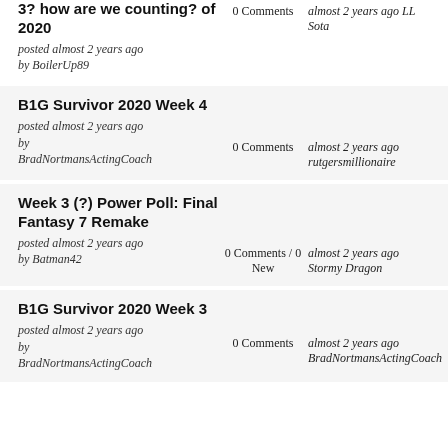3? how are we counting? of 2020
posted almost 2 years ago by BoilerUp89
0 Comments
almost 2 years ago LL Sota
B1G Survivor 2020 Week 4
posted almost 2 years ago by BradNortmansActingCoach
0 Comments
almost 2 years ago rutgersmillionaire
Week 3 (?) Power Poll: Final Fantasy 7 Remake
posted almost 2 years ago by Batman42
0 Comments / 0 New
almost 2 years ago Stormy Dragon
B1G Survivor 2020 Week 3
posted almost 2 years ago by BradNortmansActingCoach
0 Comments
almost 2 years ago BradNortmansActingCoach